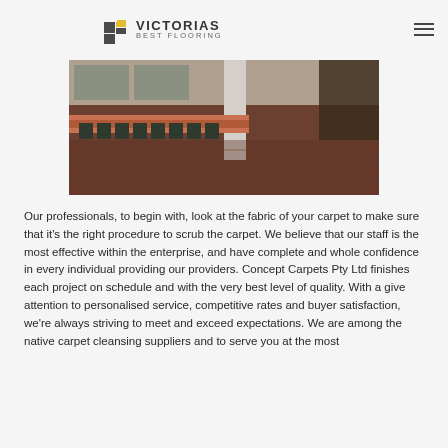VICTORIAS BEST FLOORING
[Figure (photo): Interior hall with rows of chairs along a counter, tiled floor, columns, and dark wood paneling — a waiting area or public hall.]
Our professionals, to begin with, look at the fabric of your carpet to make sure that it's the right procedure to scrub the carpet. We believe that our staff is the most effective within the enterprise, and have complete and whole confidence in every individual providing our providers. Concept Carpets Pty Ltd finishes each project on schedule and with the very best level of quality. With a give attention to personalised service, competitive rates and buyer satisfaction, we're always striving to meet and exceed expectations. We are among the native carpet cleansing suppliers and to serve you at the most